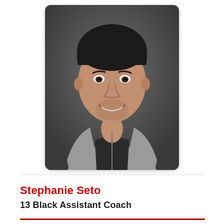[Figure (photo): Headshot photo of a man with short dark hair, smiling, wearing a grey zip-up hoodie over a black shirt, against a dark grey background.]
Stephanie Seto
13 Black Assistant Coach